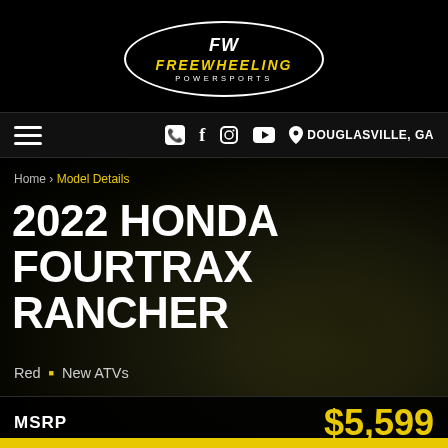[Figure (logo): Freewheeling Powersports logo in white oval with yellow FREEWHEELING text and white POWERSPORTS text, FW initials at top]
☰  📞 f 📷 ▶ 📍 DOUGLASVILLE, GA
Home › Model Details
2022 HONDA FOURTRAX RANCHER
Red • New ATVs
| MSRP | Price |
| --- | --- |
| MSRP | $5,599 |